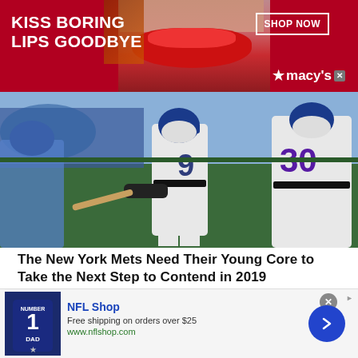[Figure (advertisement): Macy's cosmetics banner ad with red background, woman's lips, text 'KISS BORING LIPS GOODBYE', 'SHOP NOW' button and Macy's star logo]
[Figure (photo): Baseball players in New York Mets uniforms, numbers 9 and 30 visible, players at bat in stadium]
The New York Mets Need Their Young Core to Take the Next Step to Contend in 2019
Robbie Stratakos   Feb 8, 2019
New York Mets, Opinions & Predictions
The New York Mets have been one of the most active teams in Major League Baseball this offseason and are surely a
[Figure (advertisement): NFL Shop bottom banner ad with navy jersey image, 'Free shipping on orders over $25', www.nflshop.com, blue arrow button]